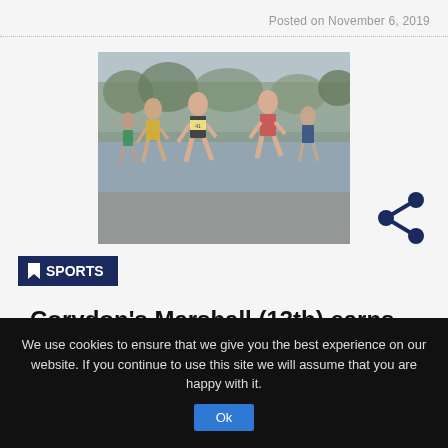Posted on November 6, 2019
[Figure (photo): Group of male cross country runners racing, wearing competition bibs, mid-stride, outdoors with trees in background]
SPORTS
Corydon's Marshall (13th) earns shot at state competition - Run through the pour
We use cookies to ensure that we give you the best experience on our website. If you continue to use this site we will assume that you are happy with it.